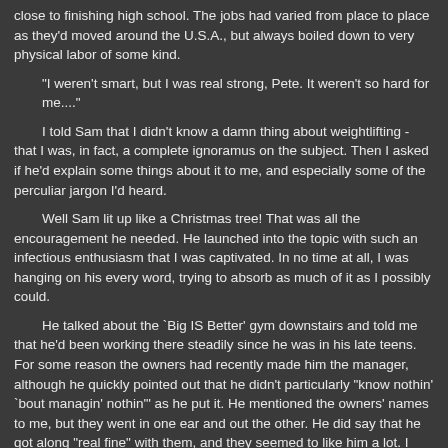close to finishing high school. The jobs had varied from place to place as they'd moved around the U.S.A., but always boiled down to very physical labor of some kind.
"I weren't smart, but I was real strong, Pete. It weren't so hard for me...."
I told Sam that I didn't know a damn thing about weightlifting - that I was, in fact, a complete ignoramus on the subject. Then I asked if he'd explain some things about it to me, and especially some of the perculiar jargon I'd heard.
Well Sam lit up like a Christmas tree! That was all the encouragement he needed. He launched into the topic with such an infectious enthusiasm that I was captivated. In no time at all, I was hanging on his every word, trying to absorb as much of it as I possibly could.
He talked about the `Big IS Better' gym downstairs and told me that he'd been working there steadily since he was in his late teens. For some reason the owners had recently made him the manager, although he quickly pointed out that he didn't particularly "know nothin' `bout managin' nothin'" as he put it. He mentioned the owners' names to me, but they went in one ear and out the other. He did say that he got along "real fine" with them, and they seemed to like him a lot. I found out that he was also a part-time strength training coach for the athletic teams - mostly football - over at the college. He'd been doing that for quite a few years now.
"I ain't no coach though, Pete. I'm ain't that smart. That's somethin' the boys just took to callin' me."
Then he began to talk specifically about weight-training, powerlifting and bodybuilding - but it was all just liftin' to Sam. And the more Sam talked, the more engrossed I became. I was taken back by how much Sam knew - and in expert detail. He left me with no doubt whatsoever that he was an excellent strength-training coach. Even just hearing him talk about `liftin' oddly excited me.